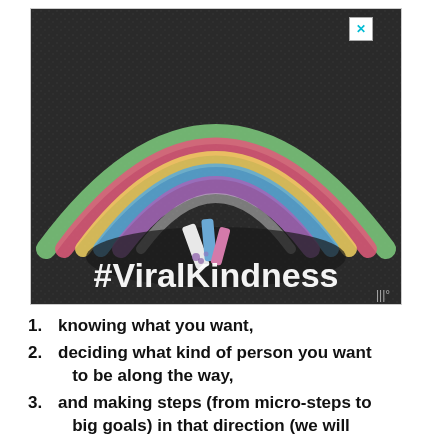[Figure (photo): Chalk-drawn rainbow on dark pavement with chalk sticks in center, and text '#ViralKindness' in white bold letters overlaid at bottom of image. Small X close button top right, Moat icon bottom right.]
knowing what you want,
deciding what kind of person you want to be along the way,
and making steps (from micro-steps to big goals) in that direction (we will